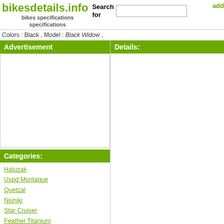bikesdetails.info — bikes specifications specifications
add
Search for
Colors : Black , Model : Black Widow ,
Advertisement
Details:
Categories:
Haluzak
Uspd Montague
Quetzal
Nishiki
Star Cruiser
Feather Titanium
Fiore
Phil Wood
Masi
Zap
Airbo
read con